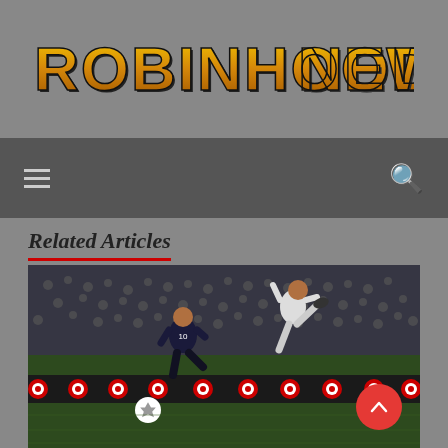RobinhoodNews
Related Articles
[Figure (photo): Two soccer players competing during an MLS match, with Target advertising banners visible along the sideline and a stadium crowd in the background. One player in dark uniform, one in white uniform jumping.]